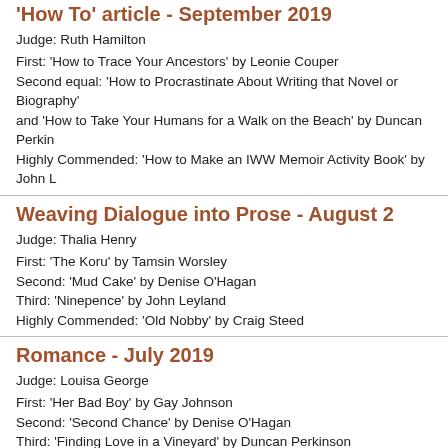'How To' article - September 2019
Judge: Ruth Hamilton
First: 'How to Trace Your Ancestors' by Leonie Couper
Second equal: 'How to Procrastinate About Writing that Novel or Biography' and 'How to Take Your Humans for a Walk on the Beach' by Duncan Perkin
Highly Commended: 'How to Make an IWW Memoir Activity Book' by John L
Weaving Dialogue into Prose - August 2
Judge: Thalia Henry
First: 'The Koru' by Tamsin Worsley
Second: 'Mud Cake' by Denise O'Hagan
Third: 'Ninepence' by John Leyland
Highly Commended: 'Old Nobby' by Craig Steed
Romance - July 2019
Judge: Louisa George
First: 'Her Bad Boy' by Gay Johnson
Second: 'Second Chance' by Denise O'Hagan
Third: 'Finding Love in a Vineyard' by Duncan Perkinson